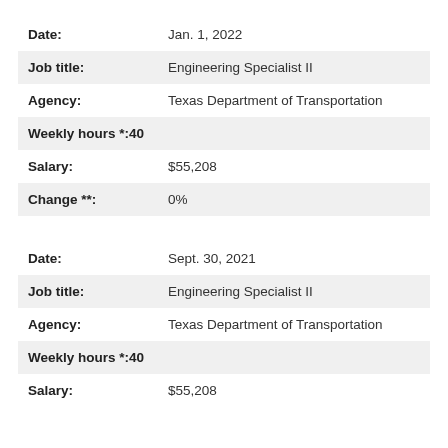| Field | Value |
| --- | --- |
| Date: | Jan. 1, 2022 |
| Job title: | Engineering Specialist II |
| Agency: | Texas Department of Transportation |
| Weekly hours *: | 40 |
| Salary: | $55,208 |
| Change **: | 0% |
| Field | Value |
| --- | --- |
| Date: | Sept. 30, 2021 |
| Job title: | Engineering Specialist II |
| Agency: | Texas Department of Transportation |
| Weekly hours *: | 40 |
| Salary: | $55,208 |